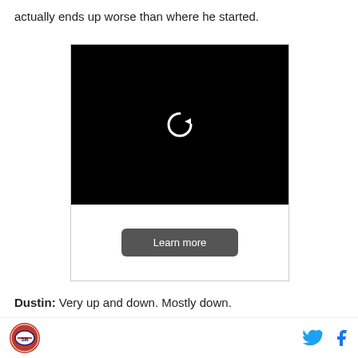actually ends up worse than where he started.
[Figure (screenshot): Black video player with a circular replay/loading arrow icon in the center, and a 'Learn more' button below on a white background.]
Dustin: Very up and down. Mostly down.
Mike: Inconsistent and seems to have tried to winnow
SB Nation logo | Twitter icon | Facebook icon